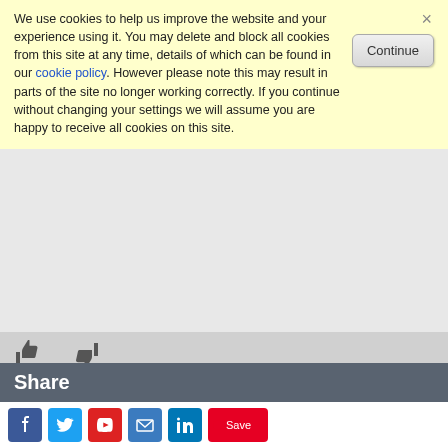We use cookies to help us improve the website and your experience using it. You may delete and block all cookies from this site at any time, details of which can be found in our cookie policy. However please note this may result in parts of the site no longer working correctly. If you continue without changing your settings we will assume you are happy to receive all cookies on this site.
Add comment - let us know why it wasn't helpful so that we can improve the website.
CAPTCHA What is one plus zero? *
Send
Share